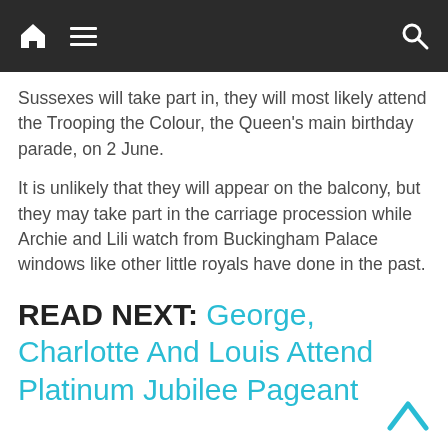[Navigation bar with home, menu, and search icons]
Sussexes will take part in, they will most likely attend the Trooping the Colour, the Queen’s main birthday parade, on 2 June.
It is unlikely that they will appear on the balcony, but they may take part in the carriage procession while Archie and Lili watch from Buckingham Palace windows like other little royals have done in the past.
READ NEXT: George, Charlotte And Louis Attend Platinum Jubilee Pageant